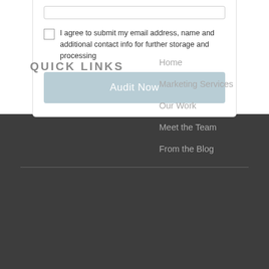I agree to submit my email address, name and additional contact info for further storage and processing
Audit Now
QUICK LINKS
Home
Marketing Services
Our Work
Meet the Team
From the Blog